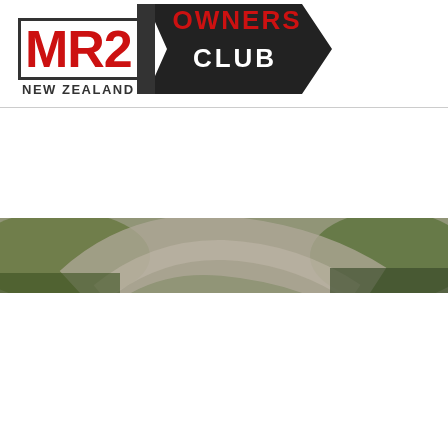[Figure (logo): MR2 Owners Club New Zealand logo. Red bold MR2 text with black border on left, black pennant/flag shape on right with 'OWNERS' in red arc text at top and 'CLUB' in white bold text in center.]
[Figure (photo): A narrow horizontal banner photo showing a curved road or racetrack with green grass/foliage on the sides, blurred motion effect, muted earthy tones of green, brown, and grey.]